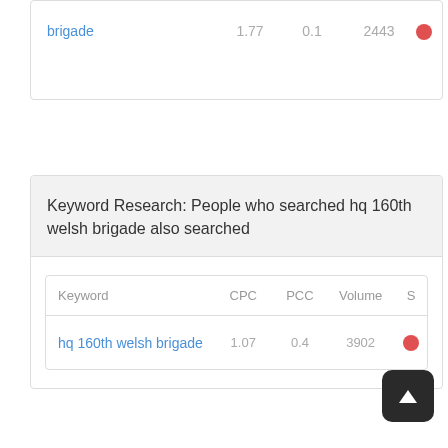| Keyword | CPC | PCC | Volume | S |
| --- | --- | --- | --- | --- |
| brigade | 1.77 | 0.1 | 2443 |  |
Keyword Research: People who searched hq 160th welsh brigade also searched
| Keyword | CPC | PCC | Volume | S |
| --- | --- | --- | --- | --- |
| hq 160th welsh brigade | 1.07 | 0.4 | 3902 |  |